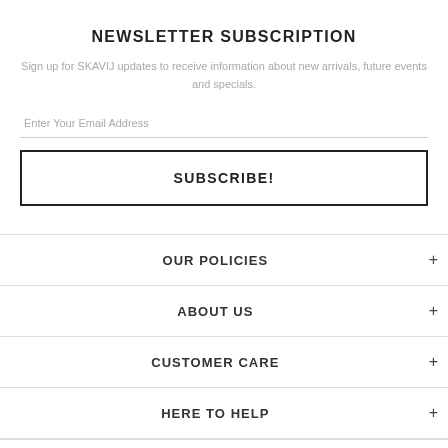NEWSLETTER SUBSCRIPTION
Sign up for SKAVIJ updates to receive information about new arrivals, future events and specials.
Enter Your Email Address
SUBSCRIBE!
OUR POLICIES
ABOUT US
CUSTOMER CARE
HERE TO HELP